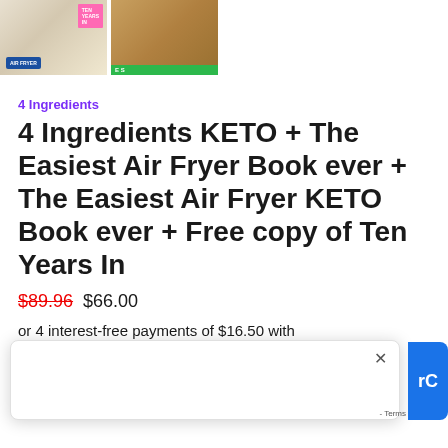[Figure (photo): Two product thumbnail images: left shows a cookbook with colorful badge and 'Air Fryer' label with 'Ten Years In' pink sticker; right shows baked goods/cookies on a surface with green bar at bottom]
4 Ingredients
4 Ingredients KETO + The Easiest Air Fryer Book ever + The Easiest Air Fryer KETO Book ever + Free copy of Ten Years In
$89.96 $66.00
or 4 interest-free payments of $16.50 with